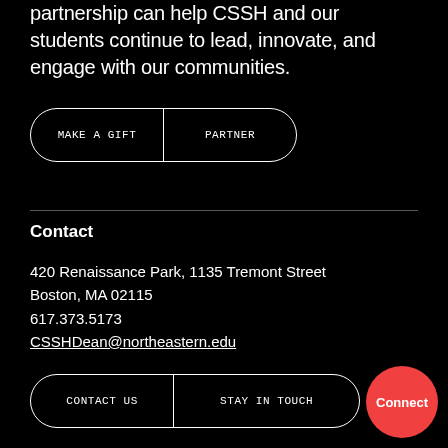partnership can help CSSH and our students continue to lead, innovate, and engage with our communities.
MAKE A GIFT | PARTNER
Contact
420 Renaissance Park, 1135 Tremont Street
Boston, MA 02115
617.373.5173
CSSHDean@northeastern.edu
CONTACT US | STAY IN TOUCH
Connect